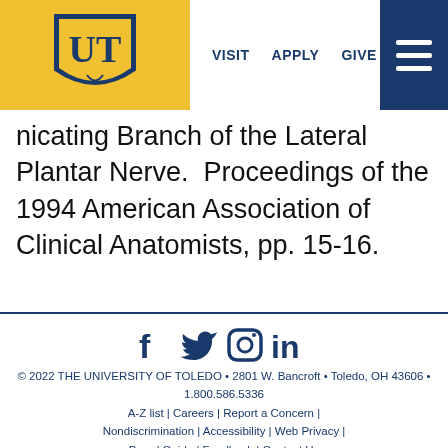VISIT   APPLY   GIVE
nicating Branch of the Lateral Plantar Nerve.  Proceedings of the 1994 American Association of Clinical Anatomists, pp. 15-16.
© 2022 THE UNIVERSITY OF TOLEDO • 2801 W. Bancroft • Toledo, OH 43606 • 1.800.586.5336
A-Z list | Careers | Report a Concern | Nondiscrimination | Accessibility | Web Privacy | Brand Guide | Feedback | Contact Us